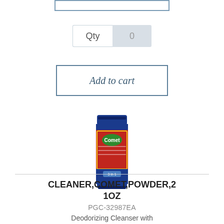[Figure (screenshot): Top portion of a product page showing a partial bordered button element at the top.]
Qty  0
Add to cart
[Figure (photo): Comet Deodorizing Cleanser with Bleach powder canister, 21 oz, blue and red container with yellow Comet logo.]
CLEANER,COMET,POWDER,21OZ
PGC-32987EA
Deodorizing Cleanser with Bleach, Powder, 21 oz Canister